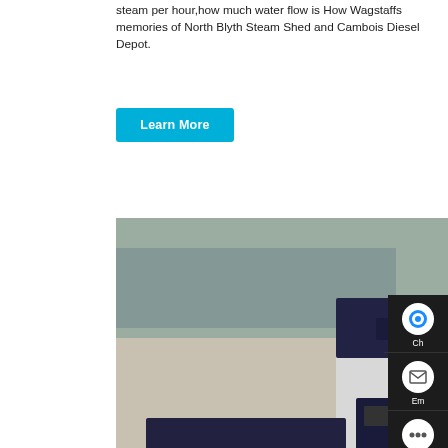steam per hour,how much water flow is How Wagstaffs memories of North Blyth Steam Shed and Cambois Diesel Depot.
Learn More
[Figure (photo): Industrial gas condensing boilers in a factory/warehouse setting. Large dark blue and white boiler units with yellow pipes visible in the background.]
Contact us now!
Agent 2 Ton Gas Condensing Boiler Commercial Belarus
Hello, I'm Allen. Welcome! Do you need steam or hot water boilers?
De... s. W... tons gas steam boiler. Automatic 1. Industrial Oil Fired